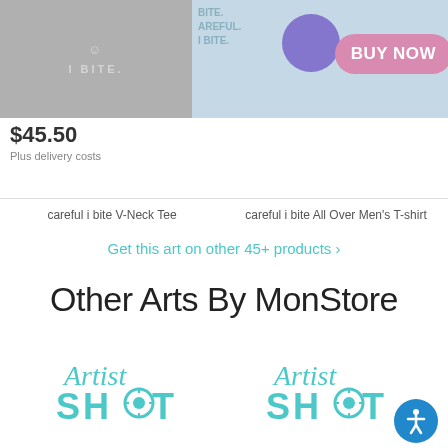[Figure (screenshot): Product image: 'careful i bite V-Neck Tee' shirt mockup in gray]
$45.50
Plus delivery costs
[Figure (screenshot): Product image: 'careful i bite All Over Men's T-shirt' with BUY NOW button overlay]
careful i bite V-Neck Tee
careful i bite All Over Men's T-shirt
Get this art on other 45+ products >
Other Arts By MonStore
[Figure (logo): Artist Shot logo (teal cursive 'Artist' over bold 'SHOT' with camera aperture icon in O)]
[Figure (logo): Artist Shot logo (teal cursive 'Artist' over bold 'SHOT' with camera aperture icon in O)]